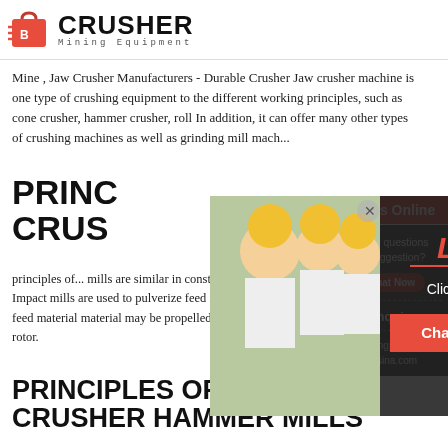[Figure (logo): Crusher Mining Equipment logo with red shopping bag icon and bold CRUSHER text]
Mine , Jaw Crusher Manufacturers - Durable Crusher Jaw crusher machine is one type of crushing equipment to the different working principles, such as cone crusher, hammer crusher, roll In addition, it can offer many other types of crushing machines as well as grinding mill mach...
PRINCIPLES OF CRUSHER
principles of... mills are similar in construction and principal to crushers. Impact mills are used to pulverize feed impact against a surface or a bed of feed material material may be propelled by gravity or by a rotor impeller or rotor.
PRINCIPLES OF JAW CRUSHER HAMMER MILLS
[Figure (photo): Live chat popup overlay showing construction workers in yellow hard hats, LIVE CHAT text in red italic, Click for a Free Consultation, Chat now and Chat later buttons]
[Figure (infographic): Right sidebar with 24Hrs Online badge, Need questions & suggestion section with Chat Now button, Enquiry section, and limingjlmofen@sina.com email]